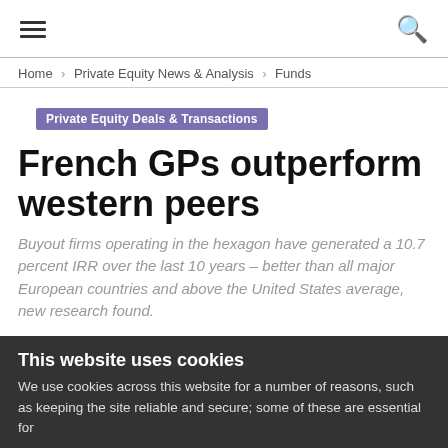Navigation header with hamburger menu and search icon
Home › Private Equity News & Analysis › Funds
Private Equity Deals & Transactions
French GPs outperform western peers
Buyout firms operating in the hexagon have generated a 10.7 percent IRR over the last 10 years – better than all major European countries and above the United States average, new research found.
Matthieu Favas - 18 July 2013
This website uses cookies
We use cookies across this website for a number of reasons, such as keeping the site reliable and secure; some of these are essential for